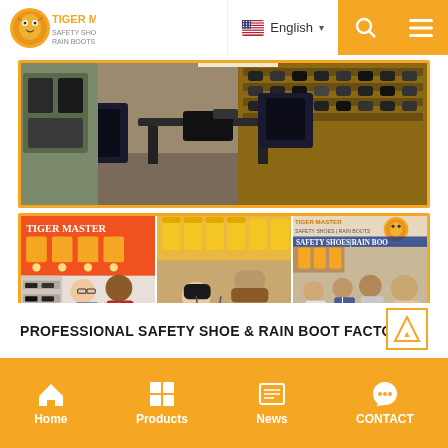Tiger Master - Safety Shoes & Rain Boot Factory
[Figure (photo): Exhibition showroom photo showing shoes displayed on wall racks with a desk and chairs, indoor trade show booth]
[Figure (photo): Three trade show booth photos: left shows Tiger Master booth with yellow boots display and two visitors; center shows woman and bearded man in yellow vest examining product; right shows Safety Shoes Rain Boot booth with group of people]
PROFESSIONAL SAFETY SHOE & RAIN BOOT FACTORY
Home  Products  News  CONTACT